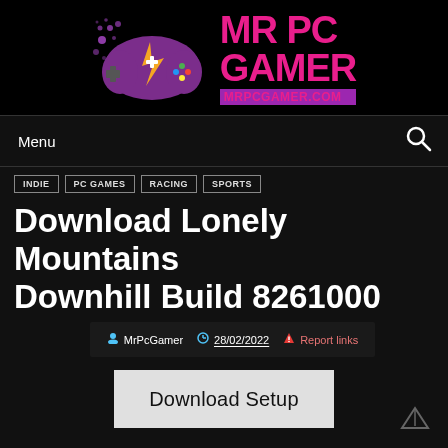[Figure (logo): MrPcGamer logo with game controller icon and pink text reading MR PC GAMER with mrpcgamer.com URL on dark background]
Menu
INDIE
PC GAMES
RACING
SPORTS
Download Lonely Mountains Downhill Build 8261000
MrPcGamer  28/02/2022  Report links
Download Setup